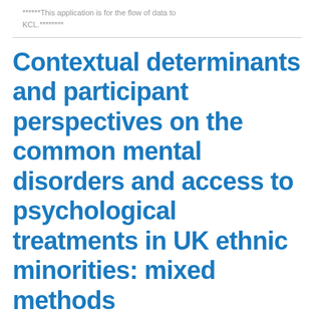******This application is for the flow of data to KCL.********
Contextual determinants and participant perspectives on the common mental disorders and access to psychological treatments in UK ethnic minorities: mixed methods